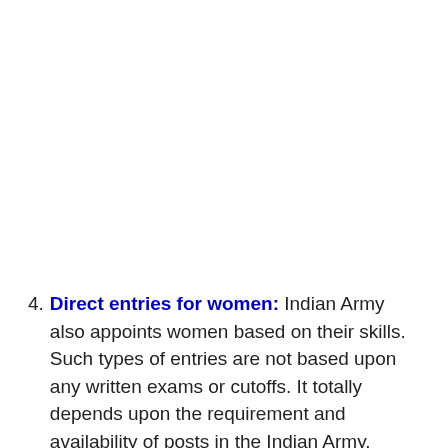4. Direct entries for women: Indian Army also appoints women based on their skills. Such types of entries are not based upon any written exams or cutoffs. It totally depends upon the requirement and availability of posts in the Indian Army. Women can be appointed as Army Medical Corps, Army Education Corps and